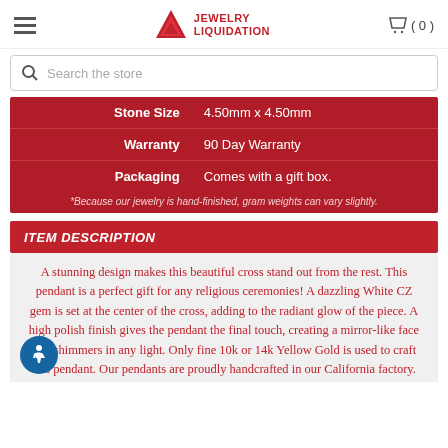Jewelry Liquidation — Cart (0)
Search the store
| Attribute | Value |
| --- | --- |
| Stone Size | 4.50mm x 4.50mm |
| Warranty | 90 Day Warranty |
| Packaging | Comes with a gift box. |
*Because our jewelry is hand-finished, gram weights can vary slightly.
ITEM DESCRIPTION
A stunning design makes this beautiful cross stand out from the rest. This pendant is a perfect gift for any religious ceremonies! A dazzling White CZ gem is set at the center of the cross, adding to the radiant glow of the piece. A high polish finish gives the pendant the final touch, creating a mirror-like face that shimmers in any light. Only fine 10k or 14k Yellow Gold is used to craft this pendant. Our pendants are proudly handcrafted in our California factory. Please note that this